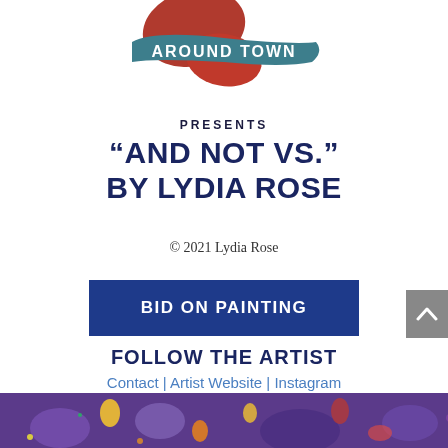[Figure (logo): Around Town logo with teal brush stroke background and decorative red/orange paint splashes above]
PRESENTS
"AND NOT VS."
BY LYDIA ROSE
© 2021 Lydia Rose
BID ON PAINTING
FOLLOW THE ARTIST
Contact | Artist Website | Instagram
[Figure (photo): Colorful painting artwork strip at the bottom of the page showing vibrant purple, yellow, and red patterns]